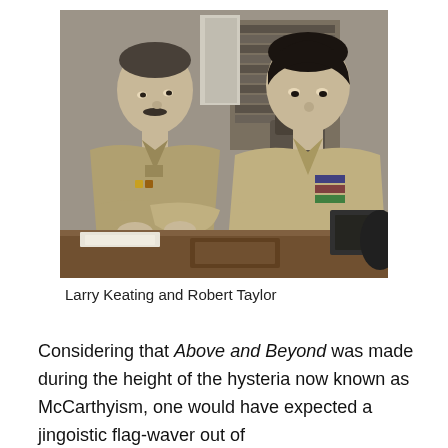[Figure (photo): Black and white photograph of two men in US military uniforms sitting at a desk. The man on the left (Larry Keating) has a mustache and is looking at the man on the right (Robert Taylor), who is leaning forward holding a device connected by a cord. Office setting with bookshelves in background.]
Larry Keating and Robert Taylor
Considering that Above and Beyond was made during the height of the hysteria now known as McCarthyism, one would have expected a jingoistic flag-waver out of Hollywood is perhaps the most jingoistic of the genre.